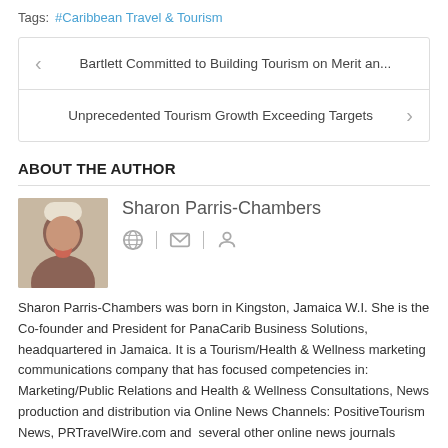Tags:  #Caribbean Travel & Tourism
< Bartlett Committed to Building Tourism on Merit an...
Unprecedented Tourism Growth Exceeding Targets >
ABOUT THE AUTHOR
[Figure (photo): Author photo of Sharon Parris-Chambers]
Sharon Parris-Chambers
Sharon Parris-Chambers was born in Kingston, Jamaica W.I. She is the Co-founder and President for PanaCarib Business Solutions, headquartered in Jamaica. It is a Tourism/Health & Wellness marketing communications company that has focused competencies in: Marketing/Public Relations and Health & Wellness Consultations, News production and distribution via Online News Channels: PositiveTourism News, PRTravelWire.com and  several other online news journals found at